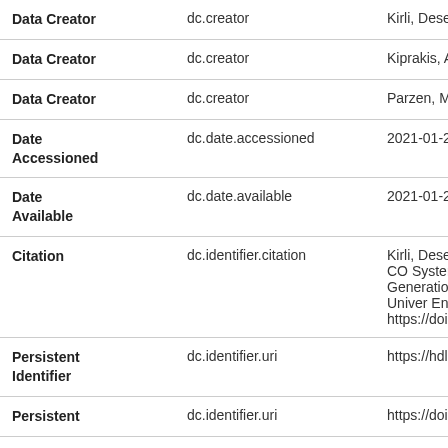| Field Label | Field Name | Value |
| --- | --- | --- |
| Data Creator | dc.creator | Kirli, Desen |
| Data Creator | dc.creator | Kiprakis, Aristide |
| Data Creator | dc.creator | Parzen, Max |
| Date Accessioned | dc.date.accessioned | 2021-01-26T11:: |
| Date Available | dc.date.available | 2021-01-26T11:: |
| Citation | dc.identifier.citation | Kirli, Desen; Kipr Impact of the CO System of Great Generation, Pric [dataset]. Univer Engineering. Ins https://doi.org/10 |
| Persistent Identifier | dc.identifier.uri | https://hdl.handle |
| Persistent | dc.identifier.uri | https://doi.org/10 |